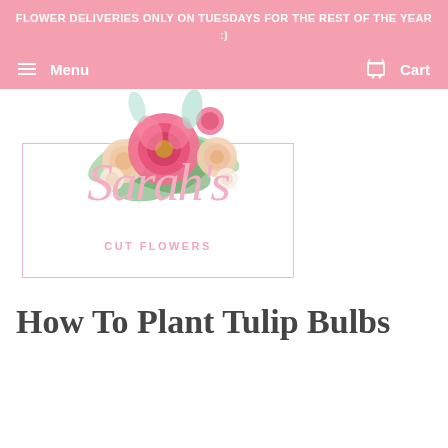FLOWER DELIVERIES ONLY ON TUESDAYS FOR THE REST OF THE YEAR :)
Menu   Cart
[Figure (logo): Sarah's Cut Flowers logo with watercolor floral arrangement (pink peonies, peach roses, green leaves) above a bordered rectangle containing cursive 'Sarah's' text in pink and 'CUT FLOWERS' in spaced pink letters]
How To Plant Tulip Bulbs